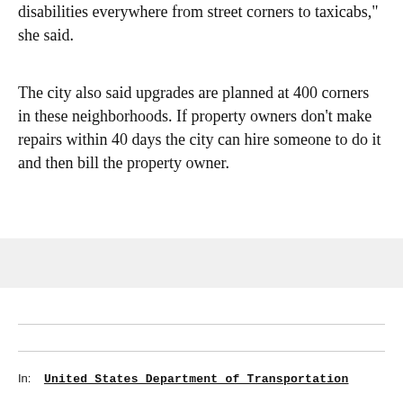disabilities everywhere from street corners to taxicabs," she said.
The city also said upgrades are planned at 400 corners in these neighborhoods. If property owners don't make repairs within 40 days the city can hire someone to do it and then bill the property owner.
In:   United States Department of Transportation